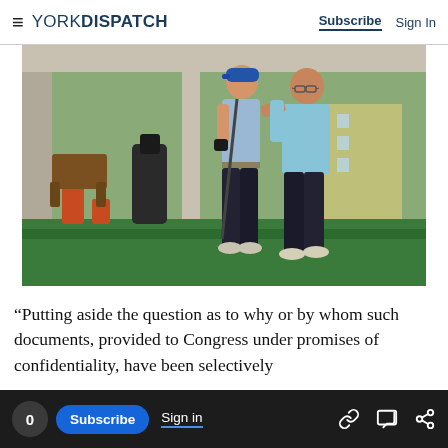YORK DISPATCH — Subscribe  Sign In
[Figure (photo): Two people at a golf driving range. A younger person in a blue cap and dark pants is being coached by an older instructor in a light blue polo shirt. Golf bags and equipment visible in background on green artificial turf.]
“Putting aside the question as to why or by whom such documents, provided to Congress under promises of confidentiality, have been selectively no concerns about these documents and any
0  Subscribe  Sign in  [link icon] [comment icon] [share icon]